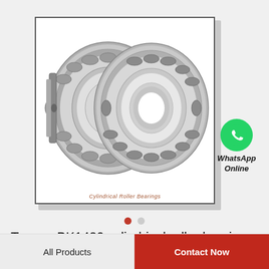[Figure (photo): Cylindrical roller bearings product photo showing two interlocked steel cylindrical roller bearings with visible rollers and inner/outer rings, displayed against white background with border]
Cylindrical Roller Bearings
[Figure (logo): WhatsApp green circle icon with white phone handset]
WhatsApp Online
Toyana BK1420 cylindrical roller bearings
All Products   Contact Now